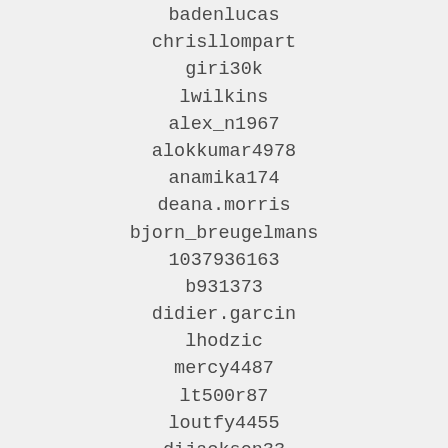badenlucas
chrisllompart
giri30k
lwilkins
alex_n1967
alokkumar4978
anamika174
deana.morris
bjorn_breugelmans
1037936163
b931373
didier.garcin
lhodzic
mercy4487
lt500r87
loutfy4455
dijackson33
fizz-bang
eepik
elringhio3.0f.i.a
jeanluctitry
kaimikuu05
alitele
dinhvan001